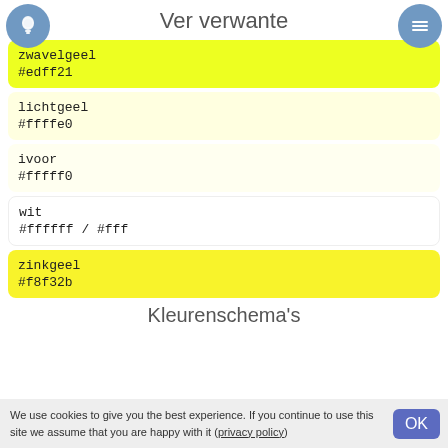Ver verwante
zwavelgeel
#edff21
lichtgeel
#ffffe0
ivoor
#fffff0
wit
#ffffff / #fff
zinkgeel
#f8f32b
Kleurenschema's
We use cookies to give you the best experience. If you continue to use this site we assume that you are happy with it (privacy policy)